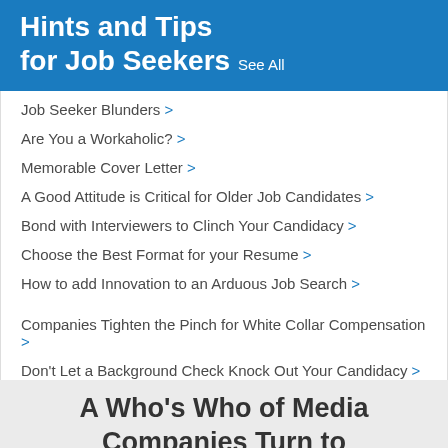Hints and Tips for Job Seekers  See All
Job Seeker Blunders >
Are You a Workaholic? >
Memorable Cover Letter >
A Good Attitude is Critical for Older Job Candidates >
Bond with Interviewers to Clinch Your Candidacy >
Choose the Best Format for your Resume >
How to add Innovation to an Arduous Job Search >
Companies Tighten the Pinch for White Collar Compensation >
Don't Let a Background Check Knock Out Your Candidacy >
How to Answer Questions About Your Weaknesses >
How to Create a Resume that Wins Interviews >
Is Your High Price Tag Scaring Off Employers? >
A Who's Who of Media Companies Turn to